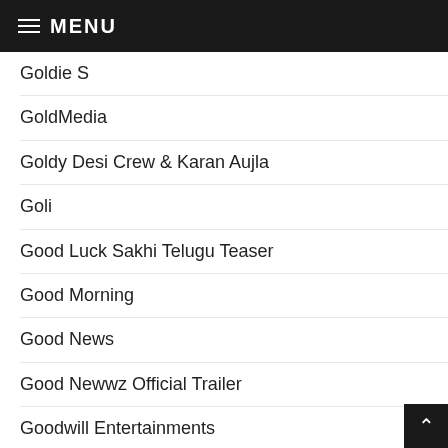MENU
Goldie S
GoldMedia
Goldy Desi Crew & Karan Aujla
Goli
Good Luck Sakhi Telugu Teaser
Good Morning
Good News
Good Newwz Official Trailer
Goodwill Entertainments
GR Music
GRY India
GUARANTEE - Gurjas Sidhu
GUCCI - Aroob Khan ft. Riyaz Aly